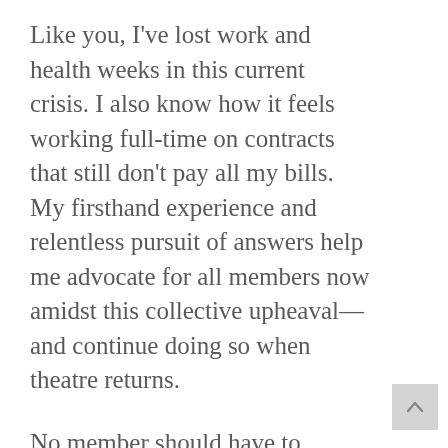Like you, I've lost work and health weeks in this current crisis. I also know how it feels working full-time on contracts that still don't pay all my bills. My firsthand experience and relentless pursuit of answers help me advocate for all members now amidst this collective upheaval—and continue doing so when theatre returns.
No member should have to wonder what Equity does for them, now or ever. Keeping me on Council keeps an advocate with...